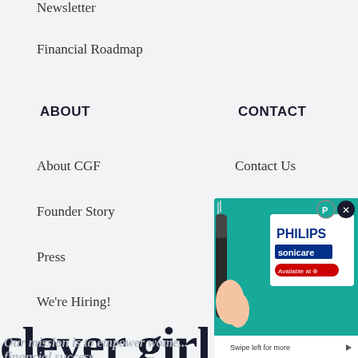Newsletter
Financial Roadmap
ABOUT
CONTACT
About CGF
Contact Us
Founder Story
Partner With Us
Press
Speaking Info
We're Hiring!
clever girl fin
Our mission is to empower wome... financial success.
[Figure (photo): Philips Sonicare advertisement overlay showing a toothbrush held in hand, with Philips and Sonicare logos, Available at Target badge, and Swipe left for more CTA]